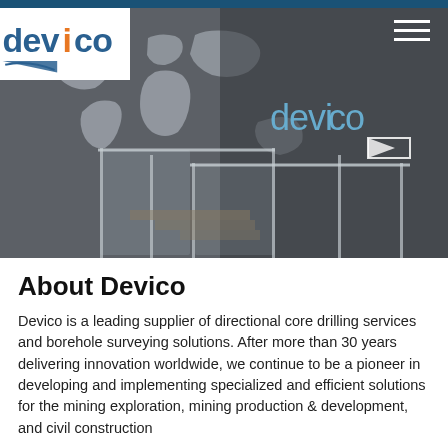[Figure (photo): Interior of Devico office building showing a concrete wall with a metal world map installation and backlit 'devico' logo with triangle/arrow brand mark. Glass and metal staircases visible in the foreground.]
About Devico
Devico is a leading supplier of directional core drilling services and borehole surveying solutions. After more than 30 years delivering innovation worldwide, we continue to be a pioneer in developing and implementing specialized and efficient solutions for the mining exploration, mining production & development, and civil construction